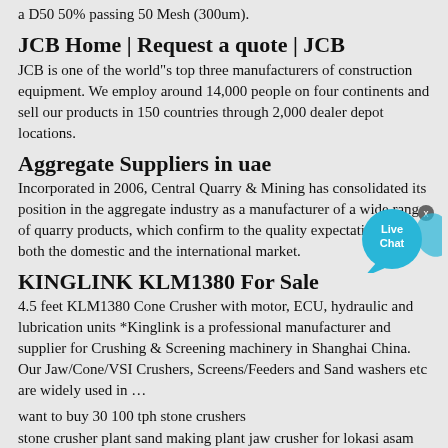a D50 50% passing 50 Mesh (300um).
JCB Home | Request a quote | JCB
JCB is one of the world"s top three manufacturers of construction equipment. We employ around 14,000 people on four continents and sell our products in 150 countries through 2,000 dealer depot locations.
Aggregate Suppliers in uae
Incorporated in 2006, Central Quarry & Mining has consolidated its position in the aggregate industry as a manufacturer of a wide range of quarry products, which confirm to the quality expectations of both the domestic and the international market.
[Figure (illustration): Live Chat button widget with blue circular bubble and close button]
KINGLINK KLM1380 For Sale
4.5 feet KLM1380 Cone Crusher with motor, ECU, hydraulic and lubrication units *Kinglink is a professional manufacturer and supplier for Crushing & Screening machinery in Shanghai China. Our Jaw/Cone/VSI Crushers, Screens/Feeders and Sand washers etc are widely used in …
want to buy 30 100 tph stone crushers
stone crusher plant sand making plant jaw crusher for lokasi asam coal mine
Palestine 690 tph Cone crusher
Stone crusher 60 tph Costa Rica